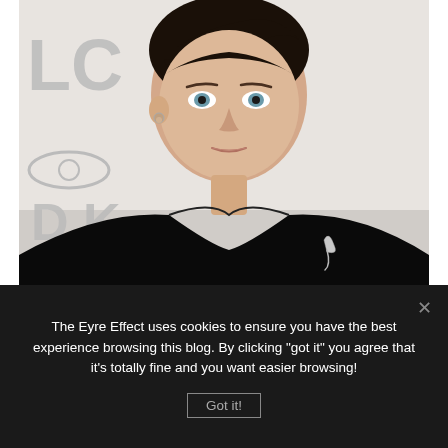[Figure (photo): Portrait photo of a young woman with short dark pixie-cut hair, wearing a black off-shoulder top with a decorative brooch. She is smiling slightly, with blue/green eyes. The background shows partial text 'LC' and 'DK' on a white backdrop, suggesting a fashion event or photo call.]
The Eyre Effect uses cookies to ensure you have the best experience browsing this blog. By clicking "got it" you agree that it's totally fine and you want easier browsing!
Got it!